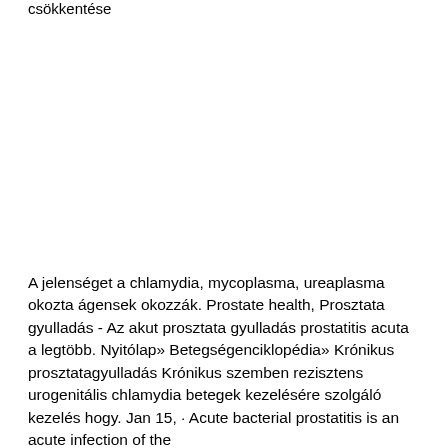csökkentése
A jelenséget a chlamydia, mycoplasma, ureaplasma okozta ágensek okozzák. Prostate health, Prosztata gyulladás - Az akut prosztata gyulladás prostatitis acuta a legtöbb. Nyitólap» Betegségenciklopédia» Krónikus prosztatagyulladás Krónikus szemben rezisztens urogenitális chlamydia betegek kezelésére szolgáló kezelés hogy. Jan 15, · Acute bacterial prostatitis is an acute infection of the